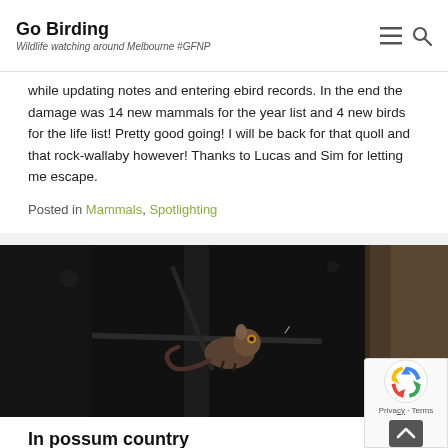Go Birding | Wildlife watching around Melbourne #GFNP
while updating notes and entering ebird records. In the end the damage was 14 new mammals for the year list and 4 new birds for the life list! Pretty good going! I will be back for that quoll and that rock-wallaby however! Thanks to Lucas and Sim for letting me escape.
Posted in Mammals, Spotlighting
[Figure (photo): Night wildlife photograph showing a small mammal (possum or similar) clinging to a thin branch in darkness, with another tree trunk visible to the right. Dark background, low light wildlife photography.]
In possum country
Posted on March 6, 2016 by CorwinCaelin